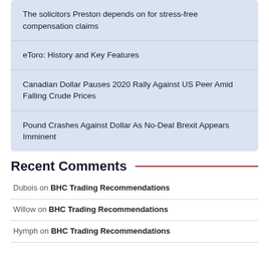The solicitors Preston depends on for stress-free compensation claims
eToro: History and Key Features
Canadian Dollar Pauses 2020 Rally Against US Peer Amid Falling Crude Prices
Pound Crashes Against Dollar As No-Deal Brexit Appears Imminent
Recent Comments
Dubois on BHC Trading Recommendations
Willow on BHC Trading Recommendations
Hymph on BHC Trading Recommendations